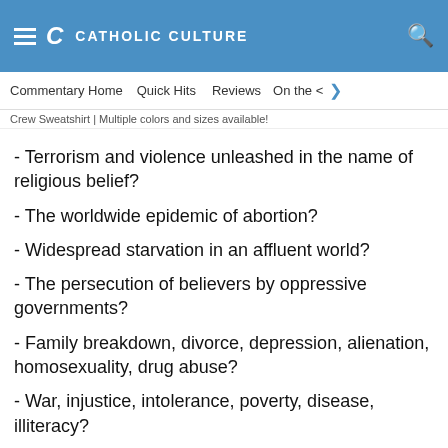CATHOLIC CULTURE
Commentary Home   Quick Hits   Reviews   On the <
Crew Sweatshirt | Multiple colors and sizes available!
- Terrorism and violence unleashed in the name of religious belief?
- The worldwide epidemic of abortion?
- Widespread starvation in an affluent world?
- The persecution of believers by oppressive governments?
- Family breakdown, divorce, depression, alienation, homosexuality, drug abuse?
- War, injustice, intolerance, poverty, disease, illiteracy?